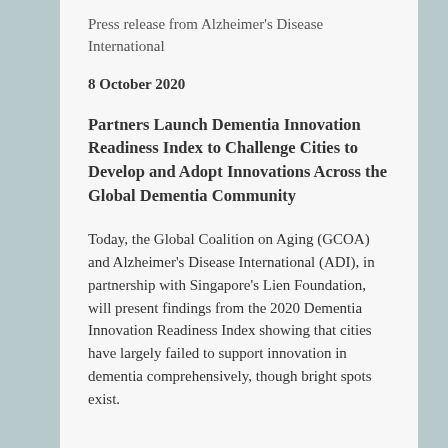Press release from Alzheimer's Disease International
8 October 2020
Partners Launch Dementia Innovation Readiness Index to Challenge Cities to Develop and Adopt Innovations Across the Global Dementia Community
Today, the Global Coalition on Aging (GCOA) and Alzheimer's Disease International (ADI), in partnership with Singapore's Lien Foundation, will present findings from the 2020 Dementia Innovation Readiness Index showing that cities have largely failed to support innovation in dementia comprehensively, though bright spots exist.